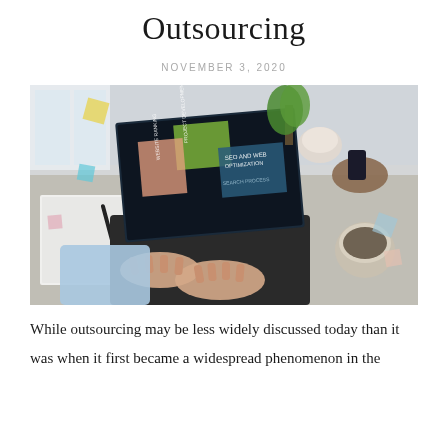Outsourcing
NOVEMBER 3, 2020
[Figure (photo): Two people at a desk with a laptop showing SEO and web optimization graphics, a notebook, pens, and a cup of coffee.]
While outsourcing may be less widely discussed today than it was when it first became a widespread phenomenon in the